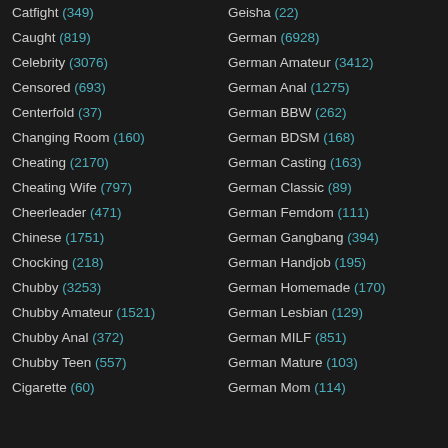Catfight (349)
Caught (819)
Celebrity (3076)
Censored (693)
Centerfold (37)
Changing Room (160)
Cheating (2170)
Cheating Wife (797)
Cheerleader (471)
Chinese (1751)
Chocking (218)
Chubby (3253)
Chubby Amateur (1521)
Chubby Anal (372)
Chubby Teen (557)
Cigarette (60)
Geisha (22)
German (6928)
German Amateur (3412)
German Anal (1275)
German BBW (262)
German BDSM (168)
German Casting (163)
German Classic (89)
German Femdom (111)
German Gangbang (394)
German Handjob (195)
German Homemade (170)
German Lesbian (129)
German MILF (851)
German Mature (103)
German Mom (114)